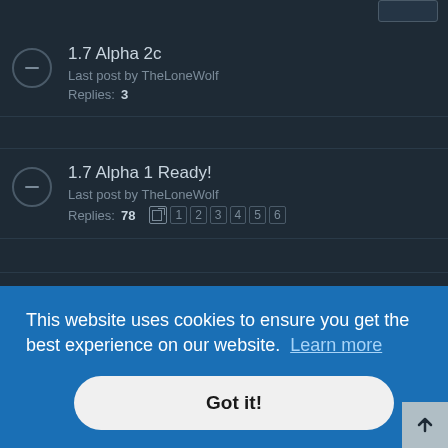[Figure (screenshot): Dark-themed forum thread list showing forum post entries with titles, last post info, and reply counts. Entries include: 1.7 Alpha 2c (Last post by TheLoneWolf, Replies: 3), 1.7 Alpha 1 Ready! (Last post by TheLoneWolf, Replies: 78, with page numbers 1-6), 1.7 Alpha 2b (Last post by relanat, Replies: 3), partially visible 1.7 Alpha 2a, and partially visible IRC Day: 26th March, 2016.]
This website uses cookies to ensure you get the best experience on our website. Learn more
Got it!